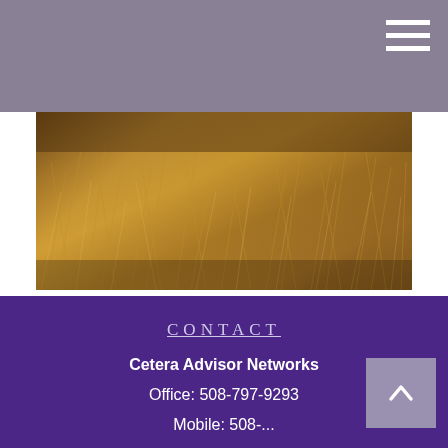[Figure (photo): Close-up photograph of dry, golden-brown grass or wheat in natural light, creating a textured abstract pattern.]
Tax Freedom Day
Assess how many days you'll work to pay your federal tax liability.
Contact
Cetera Advisor Networks
Office: 508-797-9293
Mobile: 508-...